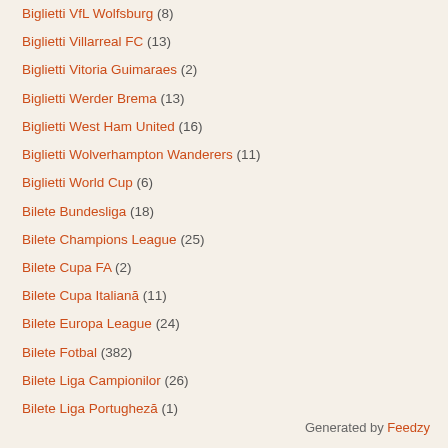Biglietti VfL Wolfsburg (8)
Biglietti Villarreal FC (13)
Biglietti Vitoria Guimaraes (2)
Biglietti Werder Brema (13)
Biglietti West Ham United (16)
Biglietti Wolverhampton Wanderers (11)
Biglietti World Cup (6)
Bilete Bundesliga (18)
Bilete Champions League (25)
Bilete Cupa FA (2)
Bilete Cupa Italiană (11)
Bilete Europa League (24)
Bilete Fotbal (382)
Bilete Liga Campionilor (26)
Bilete Liga Portugheză (1)
Generated by Feedzy